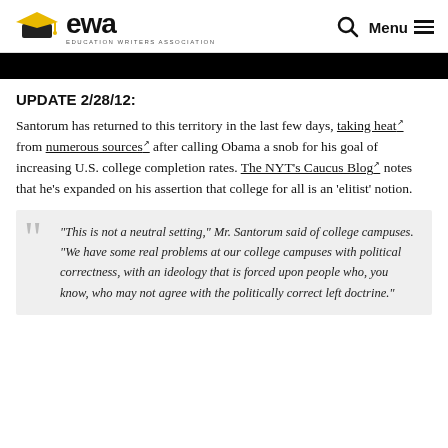EWA — Education Writers Association | Menu
[Figure (photo): Black image bar at top of article]
UPDATE 2/28/12:
Santorum has returned to this territory in the last few days, taking heat from numerous sources after calling Obama a snob for his goal of increasing U.S. college completion rates. The NYT's Caucus Blog notes that he's expanded on his assertion that college for all is an 'elitist' notion.
“This is not a neutral setting,” Mr. Santorum said of college campuses. “We have some real problems at our college campuses with political correctness, with an ideology that is forced upon people who, you know, who may not agree with the politically correct left doctrine.”